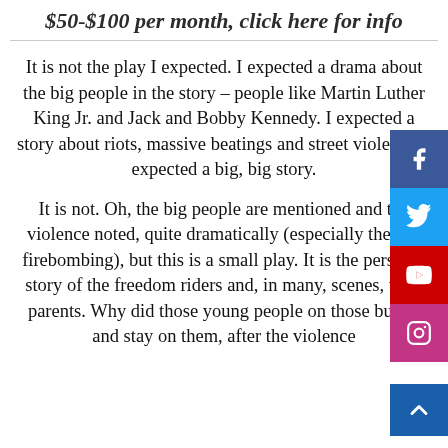$50-$100 per month, click here for info
It is not the play I expected. I expected a drama about the big people in the story – people like Martin Luther King Jr. and Jack and Bobby Kennedy. I expected a story about riots, massive beatings and street violence. I expected a big, big story.
It is not. Oh, the big people are mentioned and the violence noted, quite dramatically (especially the bus firebombing), but this is a small play. It is the personal story of the freedom riders and, in many, scenes, their parents. Why did those young people on those buses, and stay on them, after the violence